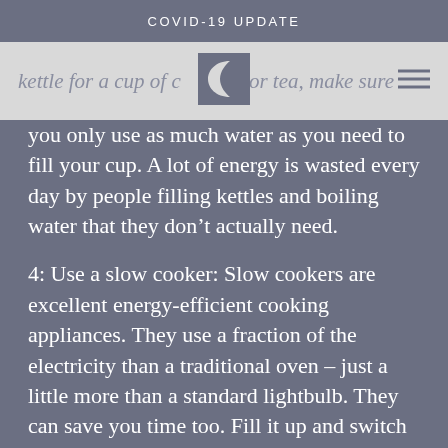COVID-19 UPDATE
kettle for a cup of coffee or tea, make sure you only use as much water as you need to fill your cup. A lot of energy is wasted every day by people filling kettles and boiling water that they don't actually need.
4: Use a slow cooker: Slow cookers are excellent energy-efficient cooking appliances. They use a fraction of the electricity than a traditional oven – just a little more than a standard lightbulb. They can save you time too. Fill it up and switch it on before you go to work and you'll come home to a delicious meal.